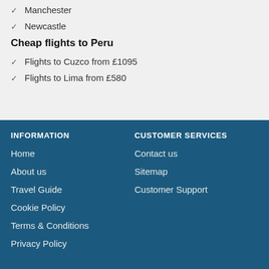Manchester
Newcastle
Cheap flights to Peru
Flights to Cuzco from £1095
Flights to Lima from £580
INFORMATION
Home
About us
Travel Guide
Cookie Policy
Terms & Conditions
Privacy Policy
CUSTOMER SERVICES
Contact us
Sitemap
Customer Support